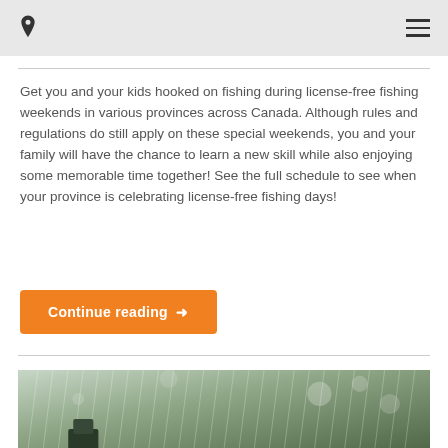Get you and your kids hooked on fishing during license-free fishing weekends in various provinces across Canada. Although rules and regulations do still apply on these special weekends, you and your family will have the chance to learn a new skill while also enjoying some memorable time together! See the full schedule to see when your province is celebrating license-free fishing days!
Continue reading →
[Figure (photo): Outdoor winter/rainy scene with trees and bokeh/rain effect, appears to show a fishing or outdoor activity scene]